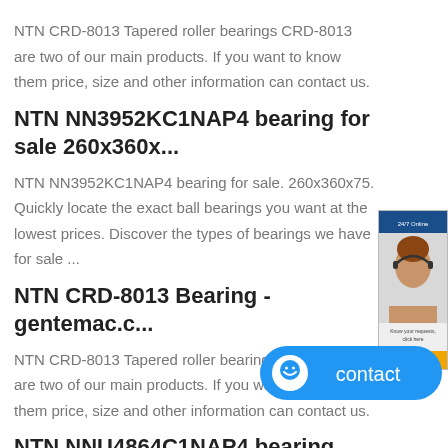NTN CRD-8013 Tapered roller bearings CRD-8013 are two of our main products. If you want to know them price, size and other information can contact us.
NTN NN3952KC1NAP4 bearing for sale 260x360x...
[Figure (photo): Customer service representative advertisement banner with woman wearing headset]
NTN NN3952KC1NAP4 bearing for sale. 260x360x75. Quickly locate the exact ball bearings you want at the lowest prices. Discover the types of bearings we have for sale ...
NTN CRD-8013 Bearing - gentemac.c...
NTN CRD-8013 Tapered roller bearings CRD-8013 are two of our main products. If you want to know them price, size and other information can contact us.
[Figure (illustration): Blue contact button with chat icon]
NTN NNU4864C1NAP4 bearing,